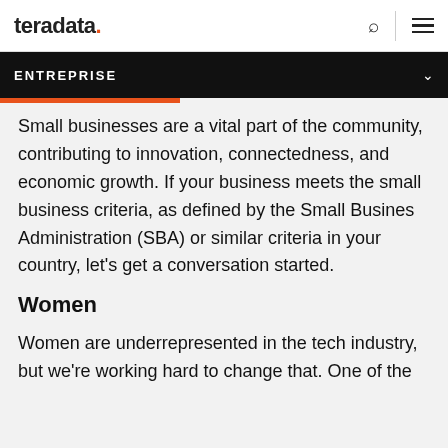teradata.
ENTREPRISE
Small businesses are a vital part of the community, contributing to innovation, connectedness, and economic growth. If your business meets the small business criteria, as defined by the Small Busines Administration (SBA) or similar criteria in your country, let's get a conversation started.
Women
Women are underrepresented in the tech industry, but we're working hard to change that. One of the